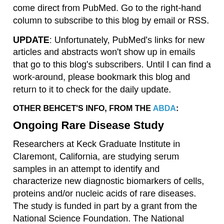come direct from PubMed. Go to the right-hand column to subscribe to this blog by email or RSS.
UPDATE: Unfortunately, PubMed's links for new articles and abstracts won't show up in emails that go to this blog's subscribers. Until I can find a work-around, please bookmark this blog and return to it to check for the daily update.
OTHER BEHCET'S INFO, FROM THE ABDA:
Ongoing Rare Disease Study
Researchers at Keck Graduate Institute in Claremont, California, are studying serum samples in an attempt to identify and characterize new diagnostic biomarkers of cells, proteins and/or nucleic acids of rare diseases. The study is funded in part by a grant from the National Science Foundation. The National Organization of Rare Disorders (NORD) is a partner and plays an advisory role. The project is designed to provide a better understanding of the similarities and differences in the patients of rare disease populations and to ultimately help select specific forms of